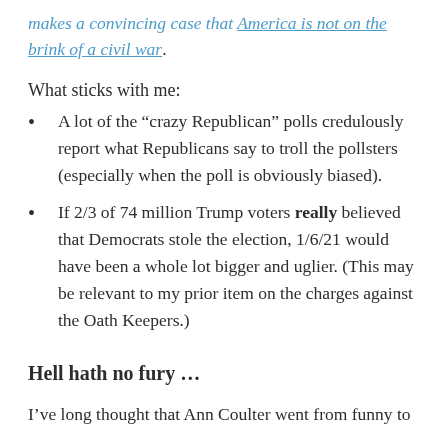makes a convincing case that America is not on the brink of a civil war.
What sticks with me:
A lot of the “crazy Republican” polls credulously report what Republicans say to troll the pollsters (especially when the poll is obviously biased).
If 2/3 of 74 million Trump voters really believed that Democrats stole the election, 1/6/21 would have been a whole lot bigger and uglier. (This may be relevant to my prior item on the charges against the Oath Keepers.)
Hell hath no fury …
I’ve long thought that Ann Coulter went from funny to